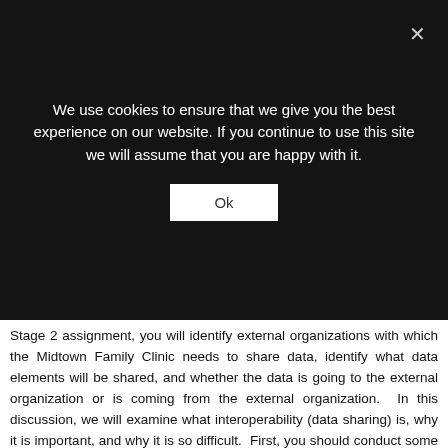We use cookies to ensure that we give you the best experience on our website. If you continue to use this site we will assume that you are happy with it.
Ok
Stage 2 assignment, you will identify external organizations with which the Midtown Family Clinic needs to share data, identify what data elements will be shared, and whether the data is going to the external organization or is coming from the external organization. In this discussion, we will examine what interoperability (data sharing) is, why it is important, and why it is so difficult. First, you should conduct some research and find out what interoperability is and how it impacts or is used in health care systems. Then,to gain an understanding of the major challenges with sharing data go to: http://afiahealth.com/challenges-sharing-data-separate-ehrs/
GROUP 3: Using a rehabilitation facility as the organization, List three data elements (or items of information) that the rehab facility would need to receive with a patient referral [Review